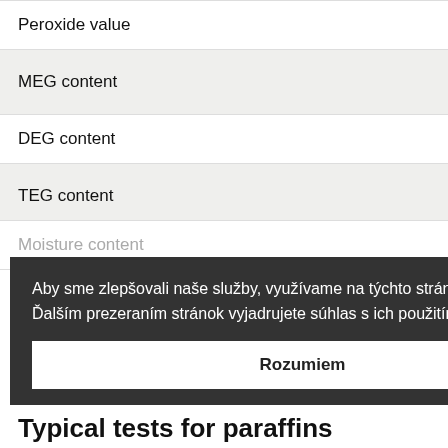| Peroxide value |
| MEG content |
| DEG content |
| TEG content |
| Moisture content |
[Figure (screenshot): Cookie consent overlay with text in Slovak: 'Aby sme zlepšovali naše služby, využívame na týchto stránkach Cookies. Ďalším prezeraním stránok vyjadrujete súhlas s ich použitím. O cookies' and a button 'Rozumiem']
Typical tests for paraffins